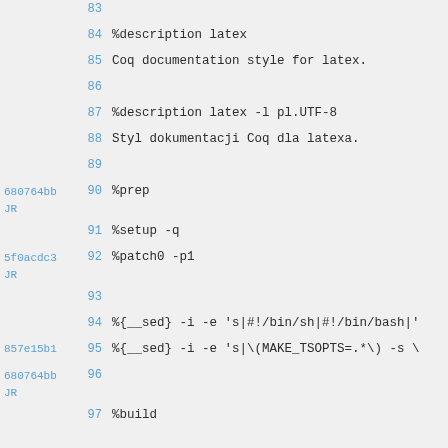83  (blank)
84  %description latex
85  Coq documentation style for latex.
86  (blank)
87  %description latex -l pl.UTF-8
88  Styl dokumentacji Coq dla latexa.
89  (blank)
680764bb JR  90  %prep
91  %setup -q
5f0acdc3 JR  92  %patch0 -p1
93  (blank)
94  %{__sed} -i -e 's|#!/bin/sh|#!/bin/bash|'
857e15b1  95  %{__sed} -i -e 's|\(MAKE_TSOPTS=.*\) -s \
680764bb JR  96  (blank)
97  %build